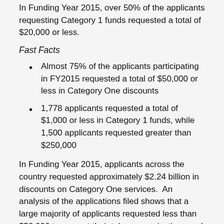In Funding Year 2015, over 50% of the applicants requesting Category 1 funds requested a total of $20,000 or less.
Fast Facts
Almost 75% of the applicants participating in FY2015 requested a total of $50,000 or less in Category One discounts
1,778 applicants requested a total of $1,000 or less in Category 1 funds, while 1,500 applicants requested greater than $250,000
In Funding Year 2015, applicants across the country requested approximately $2.24 billion in discounts on Category One services.  An analysis of the applications filed shows that a large majority of applicants requested less than $50,000 to support their telecommunications and Internet connectivity